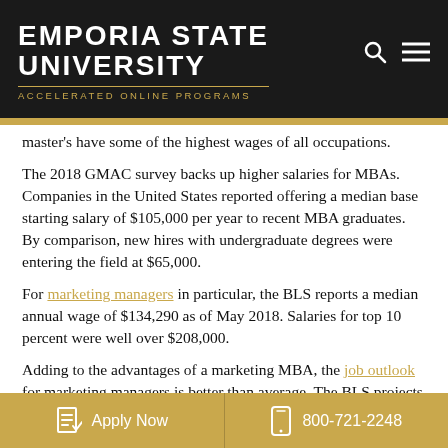EMPORIA STATE UNIVERSITY — ACCELERATED ONLINE PROGRAMS
master's have some of the highest wages of all occupations.
The 2018 GMAC survey backs up higher salaries for MBAs. Companies in the United States reported offering a median base starting salary of $105,000 per year to recent MBA graduates. By comparison, new hires with undergraduate degrees were entering the field at $65,000.
For marketing managers in particular, the BLS reports a median annual wage of $134,290 as of May 2018. Salaries for top 10 percent were well over $208,000.
Adding to the advantages of a marketing MBA, the job outlook for marketing managers is better than average. The BLS projects job growth of 10 percent for marketing managers versus 7 percent for all other occupations. Job
Apply Now  |  800-721-2248